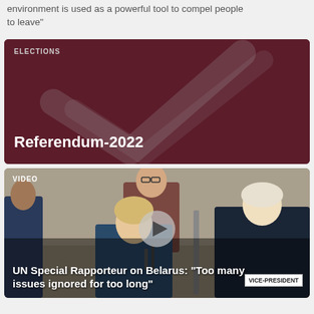environment is used as a powerful tool to compel people to leave”
[Figure (illustration): Dark burgundy card with ELECTIONS label and large checkmark graphic watermark, title reads Referendum-2022]
[Figure (photo): Video thumbnail showing people at a formal meeting table with UN setting, labeled VIDEO, play button overlay, caption: UN Special Rapporteur on Belarus: “Too many issues ignored for too long”, VICE-PRESIDENT nameplate visible]